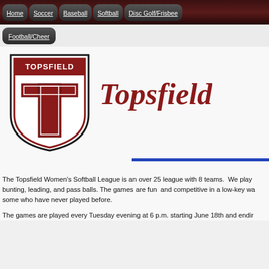Home | Soccer | Baseball | Softball | Disc Golf/Frisbee | Football/Cheer
[Figure (logo): Topsfield shield logo with large red T in center and TOPSFIELD text at top]
Topsfield
The Topsfield Women's Softball League is an over 25 league with 8 teams.  We play bunting, leading, and pass balls. The games are fun  and competitive in a low-key way some who have never played before.
The games are played every Tuesday evening at 6 p.m. starting June 18th and endir